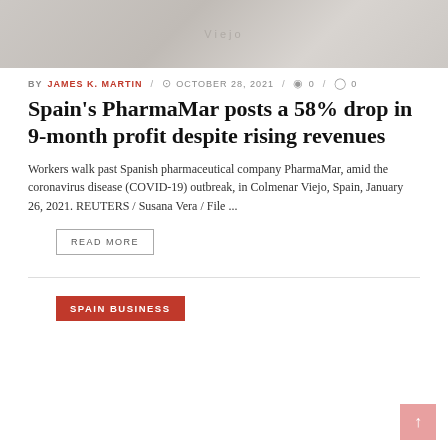[Figure (photo): Faded background photo of PharmaMar building area]
BY JAMES K. MARTIN / OCTOBER 28, 2021 / 0 / 0
Spain's PharmaMar posts a 58% drop in 9-month profit despite rising revenues
Workers walk past Spanish pharmaceutical company PharmaMar, amid the coronavirus disease (COVID-19) outbreak, in Colmenar Viejo, Spain, January 26, 2021. REUTERS / Susana Vera / File ...
READ MORE
SPAIN BUSINESS